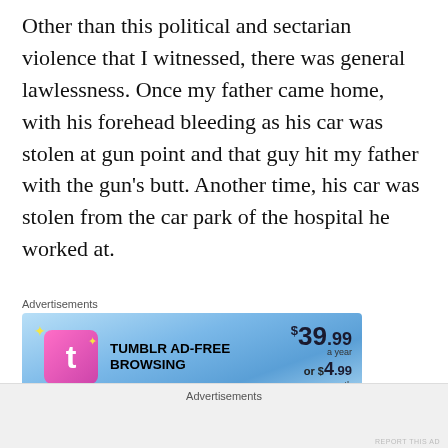Other than this political and sectarian violence that I witnessed, there was general lawlessness. Once my father came home, with his forehead bleeding as his car was stolen at gun point and that guy hit my father with the gun's butt. Another time, his car was stolen from the car park of the hospital he worked at.
[Figure (screenshot): Tumblr ad-free browsing advertisement banner. Blue gradient background. Shows Tumblr 't' logo in pink/purple, text 'TUMBLR AD-FREE BROWSING', price '$39.99 a year or $4.99 a month'. Label 'Advertisements' above.]
Once we had dacoits in our home, right after my
Advertisements